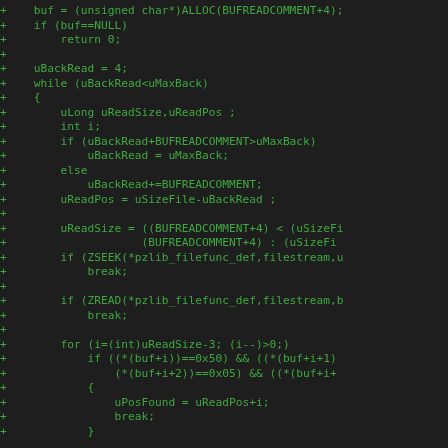Code diff showing C code for reading ZIP comment buffer, including buffer allocation, while loop with uBackRead, uReadSize/uReadPos calculations, ZSEEK/ZREAD calls, and for loop searching for signature bytes.